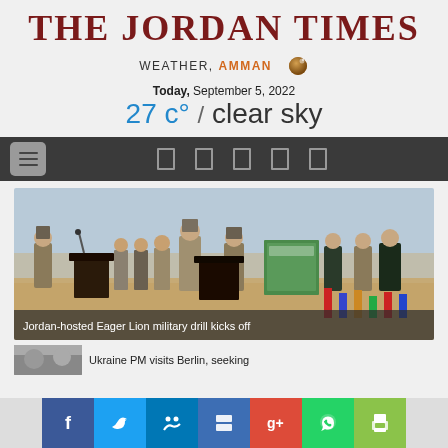THE JORDAN TIMES
WEATHER, AMMAN
Today, September 5, 2022
27 c° / clear sky
[Figure (photo): Military personnel at outdoor ceremony, Jordan-hosted Eager Lion military drill]
Jordan-hosted Eager Lion military drill kicks off
Ukraine PM visits Berlin, seeking
Social sharing bar with Facebook, Twitter, LinkedIn, Delicious, Google+, WhatsApp, and print icons